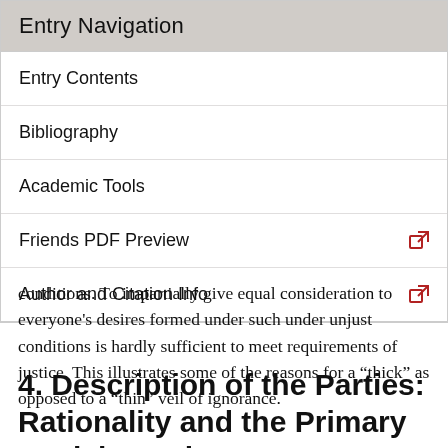Entry Navigation
Entry Contents
Bibliography
Academic Tools
Friends PDF Preview
Author and Citation Info
conditions. To impartially give equal consideration to everyone's desires formed under such under unjust conditions is hardly sufficient to meet requirements of justice. This illustrates some of the reasons for a “thick” as opposed to a “thin” veil of ignorance.
4. Description of the Parties: Rationality and the Primary Social Goods